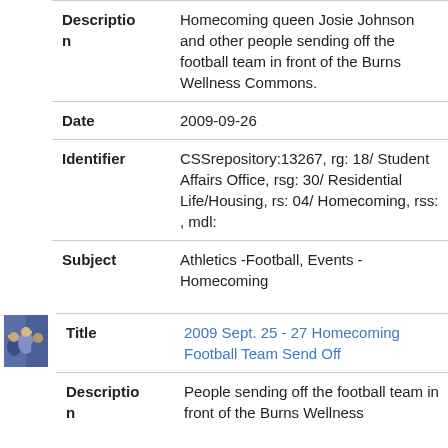| Description | Homecoming queen Josie Johnson and other people sending off the football team in front of the Burns Wellness Commons. |
| Date | 2009-09-26 |
| Identifier | CSSrepository:13267, rg: 18/ Student Affairs Office, rsg: 30/ Residential Life/Housing, rs: 04/ Homecoming, rss: , mdl: |
| Subject | Athletics -Football, Events - Homecoming |
[Figure (photo): Thumbnail photo of people in blue and yellow cheerleader/crowd attire at homecoming football team send off.]
| Title | 2009 Sept. 25 - 27 Homecoming Football Team Send Off |
| Description | People sending off the football team in front of the Burns Wellness |